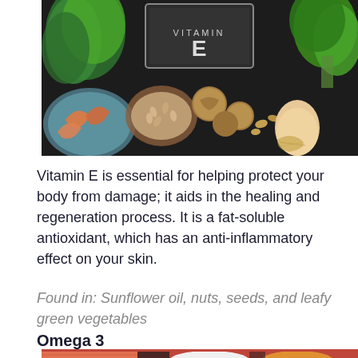[Figure (photo): A dark background flat lay of Vitamin E rich foods including leafy greens (spinach, basil), a chalkboard sign with 'Vitamin E', broccoli, shrimp, bowls of sunflower seeds, walnuts, mixed nuts, eggs, and other foods]
Vitamin E is essential for helping protect your body from damage; it aids in the healing and regeneration process. It is a fat-soluble antioxidant, which has an anti-inflammatory effect on your skin.
Found in: Sunflower oil, nuts, seeds, and leafy green vegetables
Omega 3
[Figure (photo): Bottom edge of an image showing Omega 3 rich foods including salmon and bowls of oils/seeds]